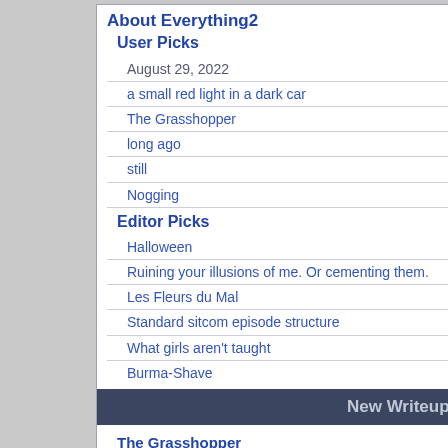About Everything2
User Picks
August 29, 2022
a small red light in a dark car
The Grasshopper
long ago
still
Nogging
Editor Picks
Halloween
Ruining your illusions of me. Or cementing them.
Les Fleurs du Mal
Standard sitcom episode structure
What girls aren't taught
Burma-Shave
New Writeups
The Grasshopper (review) by JD
Saint Martin's Summer (thing) by Clockmaker
September 1, 2022 (personal) by wertperch
Mystic crystal revelation, and the